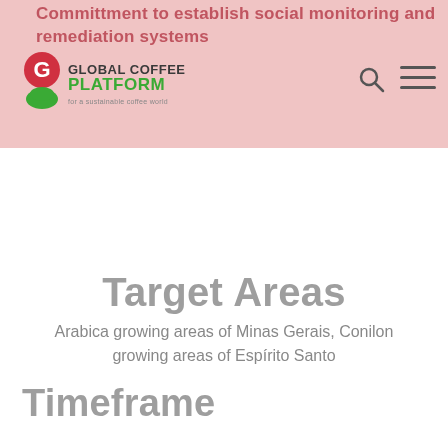Committment to establish social monitoring and remediation systems
[Figure (logo): Global Coffee Platform logo — red and green circular G with coffee cup shape, text 'GLOBAL COFFEE PLATFORM for a sustainable coffee world']
Target Areas
Arabica growing areas of Minas Gerais, Conilon growing areas of Espírito Santo
Timeframe